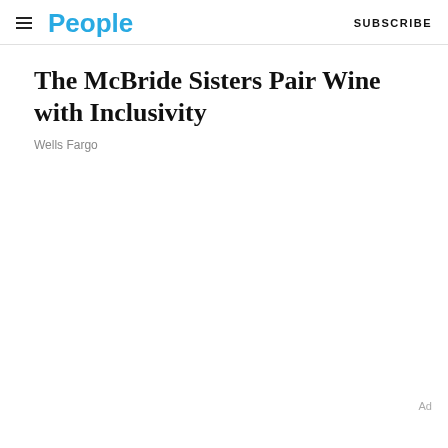People  SUBSCRIBE
The McBride Sisters Pair Wine with Inclusivity
Wells Fargo
Ad